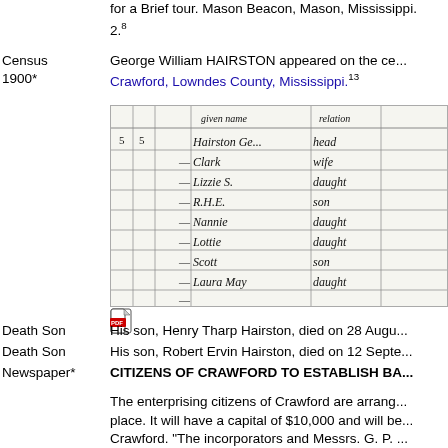for a Brief tour. Mason Beacon, Mason, Mississippi. 2.8
George William HAIRSTON appeared on the census in Crawford, Lowndes County, Mississippi.13
[Figure (photo): Scanned handwritten census record showing entries for Hairston family members including Clark (wife), Lizzie (daught), R.H.E. (son), Nannie (daught), Lottie (daught), Scott (son), Laura May (daught)]
His son, Henry Tharp Hairston, died on 28 Augu...
His son, Robert Ervin Hairston, died on 12 Septe...
CITIZENS OF CRAWFORD TO ESTABLISH BA...
The enterprising citizens of Crawford are arrang... place. It will have a capital of $10,000 and will be... Crawford. "The incorporators and Messrs. G. P. ... Ervin, Jr., W. E. Ervin, Brooks and Ledbetter and...